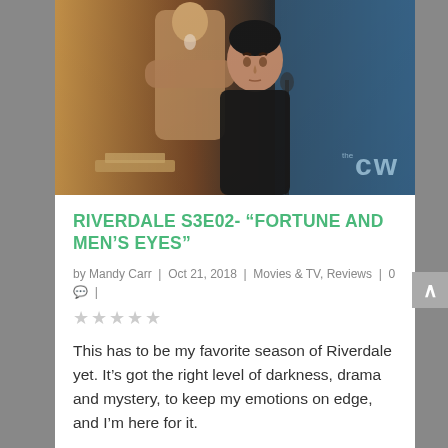[Figure (photo): Scene from Riverdale showing a young man in dark jacket seated at a desk looking intensely forward, with another person standing behind him with arms crossed, blue background on right side, CW network logo watermark in lower right]
RIVERDALE S3E02- “FORTUNE AND MEN’S EYES”
by Mandy Carr | Oct 21, 2018 | Movies & TV, Reviews | 0 |
This has to be my favorite season of Riverdale yet. It’s got the right level of darkness, drama and mystery, to keep my emotions on edge, and I’m here for it.
READ MORE